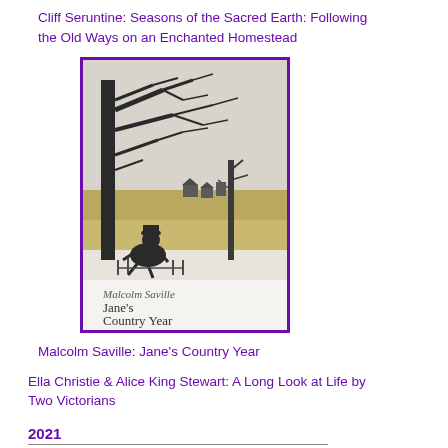Cliff Seruntine: Seasons of the Sacred Earth: Following the Old Ways on an Enchanted Homestead
[Figure (illustration): Book cover of Jane's Country Year by Malcolm Saville with a purple border. Black and white woodcut-style illustration of a person sitting under a large bare tree in a winter landscape. Below the illustration text reads: Malcolm Saville, Jane's Country Year, and a subtitle line.]
Malcolm Saville: Jane's Country Year
Ella Christie & Alice King Stewart: A Long Look at Life by Two Victorians
2021
John Buchan: Andrew Lang and